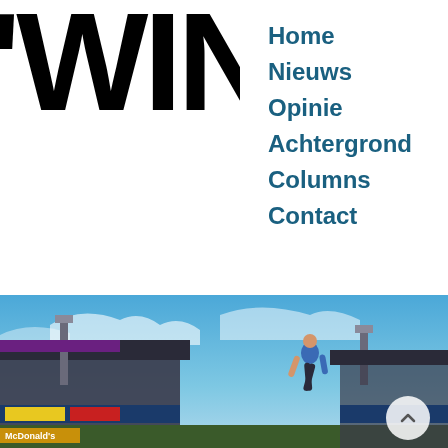[Figure (logo): WIN logo in large bold black text, partially cropped]
[Figure (screenshot): Search box with placeholder text 'Zo' and search icon]
Home
Nieuws
Opinie
Achtergrond
Columns
Contact
[Figure (illustration): Social media icons: Facebook (blue square), Instagram (gradient circle), UK flag]
[Figure (photo): Hero image of a man standing in a football stadium with blue sky background and stadium lights visible]